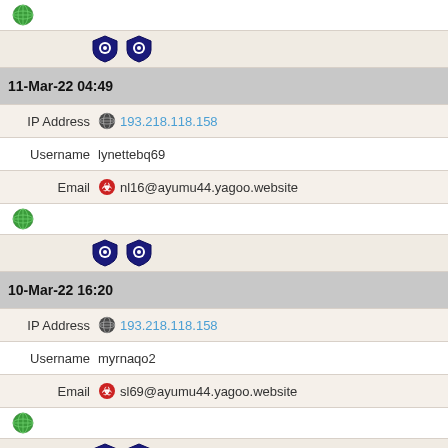[Figure (infographic): Globe icon row]
[Figure (infographic): Two shield/Tor icons pair]
11-Mar-22 04:49
IP Address  193.218.118.158
Username  lynettebq69
Email  nl16@ayumu44.yagoo.website
[Figure (infographic): Globe icon row]
[Figure (infographic): Two shield/Tor icons pair]
10-Mar-22 16:20
IP Address  193.218.118.158
Username  myrnaqo2
Email  sl69@ayumu44.yagoo.website
[Figure (infographic): Globe icon row]
[Figure (infographic): Two shield/Tor icons pair]
9-Mar-22 19:54
IP Address  193.218.118.158
Username  rickyjw60